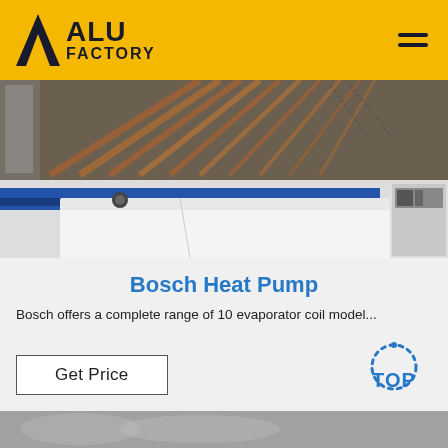ALU FACTORY
[Figure (photo): Industrial factory floor showing aluminum processing machinery with blue equipment rails and copper-colored material fins overhead]
Bosch Heat Pump
Bosch offers a complete range of 10 evaporator coil model...
[Figure (logo): Get Price button and TOP badge logo with dotted arc and blue text]
[Figure (photo): Bottom strip showing partial view of another product or factory image]